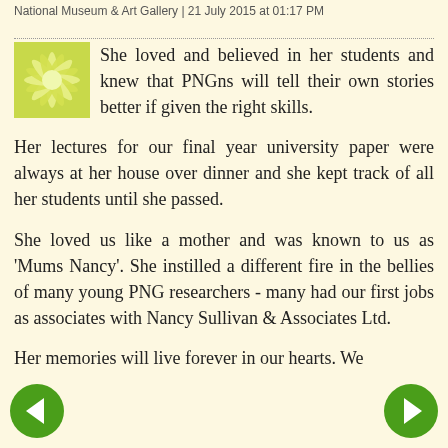National Museum & Art Gallery | 21 July 2015 at 01:17 PM
She loved and believed in her students and knew that PNGns will tell their own stories better if given the right skills.
Her lectures for our final year university paper were always at her house over dinner and she kept track of all her students until she passed.
She loved us like a mother and was known to us as 'Mums Nancy'. She instilled a different fire in the bellies of many young PNG researchers - many had our first jobs as associates with Nancy Sullivan & Associates Ltd.
Her memories will live forever in our hearts. We